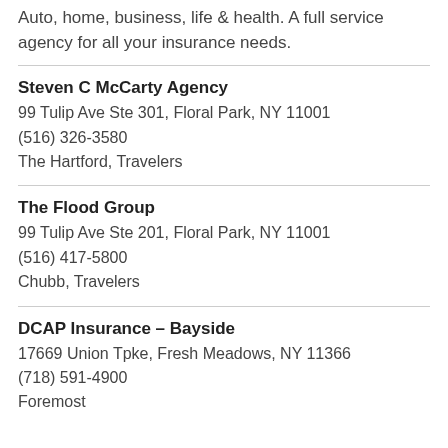Auto, home, business, life & health. A full service agency for all your insurance needs.
Steven C McCarty Agency
99 Tulip Ave Ste 301, Floral Park, NY 11001
(516) 326-3580
The Hartford, Travelers
The Flood Group
99 Tulip Ave Ste 201, Floral Park, NY 11001
(516) 417-5800
Chubb, Travelers
DCAP Insurance – Bayside
17669 Union Tpke, Fresh Meadows, NY 11366
(718) 591-4900
Foremost